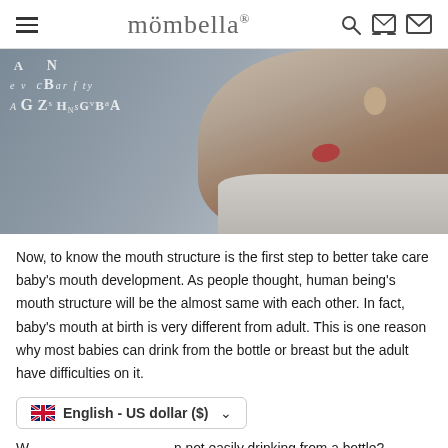mömbella®
[Figure (photo): A child with mouth open, letters of the alphabet floating out, against a grey background]
Now, to know the mouth structure is the first step to better take care baby's mouth development. As people thought, human being's mouth structure will be the almost same with each other. In fact, baby's mouth at birth is very different from adult. This is one reason why most babies can drink from the bottle or breast but the adult have difficulties on it.
English - US dollar ($)
...an not easily drinking from a bottle? Because the structures and functions are quite different